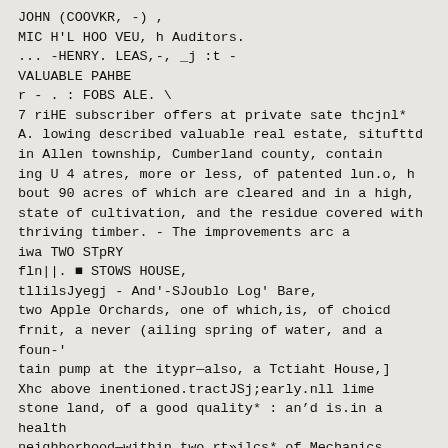JOHN (COOVKR, -) ,
MIC H'L HOO VEU, h Auditors.
... -HENRY. LEAS,-, _j :t -
VALUABLE PAHBE
r - . : FOBS ALE. \
7 riHE subscriber offers at private sate thcjnl*
A. lowing described valuable real estate, situfttd
in Allen township, Cumberland county, contain
ing U 4 atres, more or less, of patented lun.o, h
bout 90 acres of which are cleared and in a high,
state of cultivation, and the residue covered with
thriving timber. - The improvements arc a
iwa TWO STpRY
fln||. ■ STOWS HOUSE,
tllilsJyegj - And'-SJoublo Log' Bare,
two Apple Orchards, one of which,is, of choicd
frnit, a never (ailing spring of water, and a foun-'
tain pump at the itypr—also, a Tctiaht House,]
Xhc above inentioned.tractJSj;early.nll lime
stone land, of a good quality* : an'd is.in a health
neighborhood—within two_rt»ilcs* of Mechanics
burg and the Cumberland Valley Rail Road, and
about cue mile front Shepherdstowri.^
An indisputable titld wilbbe given. /For terms;